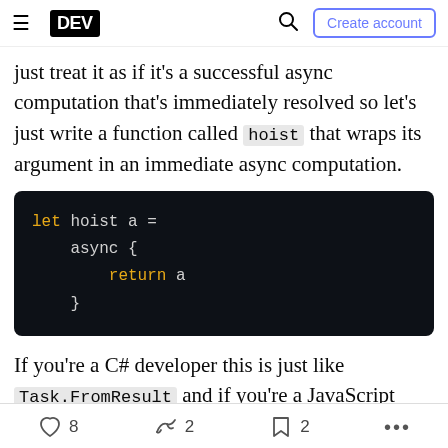DEV — Search — Create account
just treat it as if it's a successful async computation that's immediately resolved so let's just write a function called hoist that wraps its argument in an immediate async computation.
If you're a C# developer this is just like Task.FromResult and if you're a JavaScript developer then it's akin to Promise.resolve.
8  2  2  ...